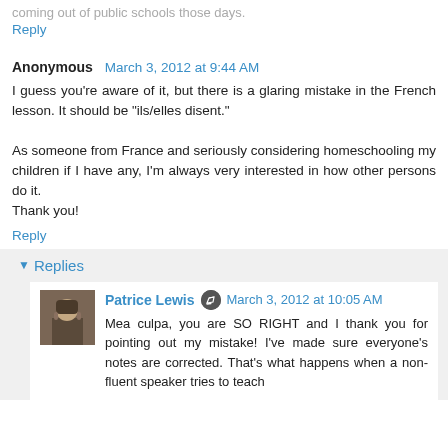coming out of public schools those days.
Reply
Anonymous  March 3, 2012 at 9:44 AM
I guess you're aware of it, but there is a glaring mistake in the French lesson. It should be "ils/elles disent."
As someone from France and seriously considering homeschooling my children if I have any, I'm always very interested in how other persons do it.
Thank you!
Reply
Replies
Patrice Lewis  March 3, 2012 at 10:05 AM
Mea culpa, you are SO RIGHT and I thank you for pointing out my mistake! I've made sure everyone's notes are corrected. That's what happens when a non-fluent speaker tries to teach the language! :)